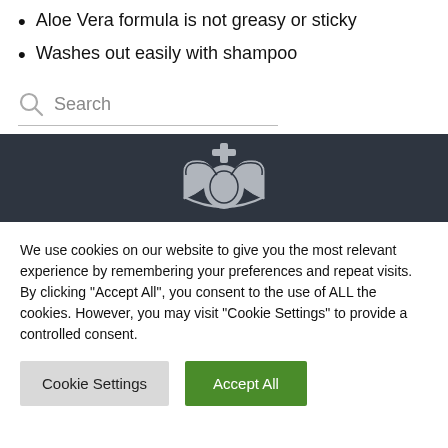Aloe Vera formula is not greasy or sticky
Washes out easily with shampoo
Search
[Figure (logo): Crown logo with cross on top, two heart-like shapes, dark background banner]
We use cookies on our website to give you the most relevant experience by remembering your preferences and repeat visits. By clicking "Accept All", you consent to the use of ALL the cookies. However, you may visit "Cookie Settings" to provide a controlled consent.
Cookie Settings
Accept All